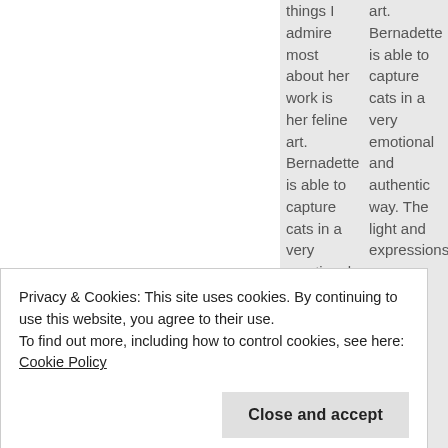things I admire most about her work is her feline art. Bernadette is able to capture cats in a very emotional and
art. Bernadette is able to capture cats in a very emotional and authentic way. The light and expressions
Privacy & Cookies: This site uses cookies. By continuing to use this website, you agree to their use.
To find out more, including how to control cookies, see here: Cookie Policy
Close and accept
feline